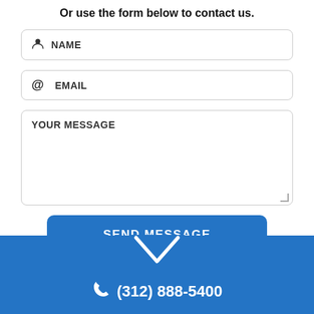Or use the form below to contact us.
NAME
EMAIL
YOUR MESSAGE
SEND MESSAGE
(312) 888-5400